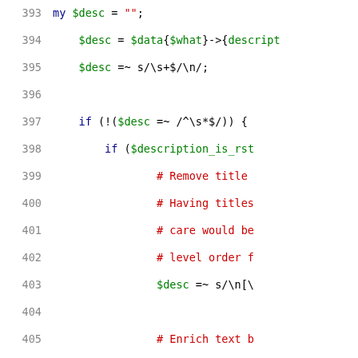[Figure (screenshot): Source code listing in Perl showing lines 393-414 with syntax highlighting. Line numbers in gray on the left, code in blue/green/red colors on the right.]